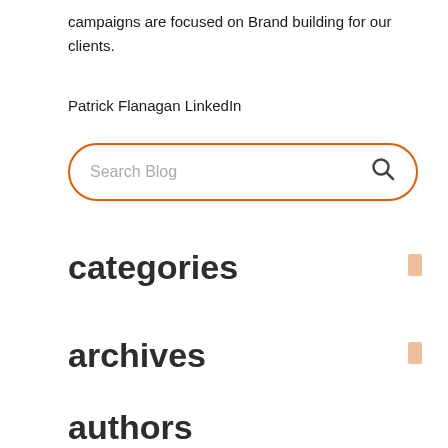campaigns are focused on Brand building for our clients.
Patrick Flanagan LinkedIn
[Figure (other): Search blog input box with orange rounded border and search magnifying glass icon]
categories
archives
authors